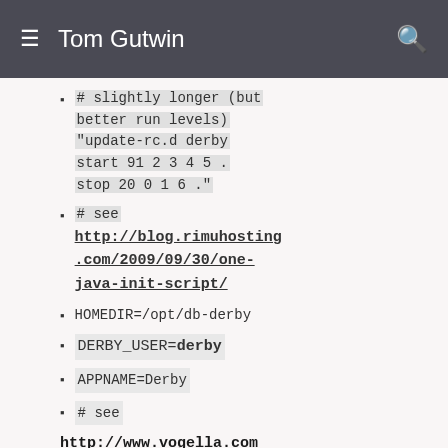Tom Gutwin
# slightly longer (but better run levels) "update-rc.d derby start 91 2 3 4 5 . stop 20 0 1 6 ."
# see http://blog.rimuhosting.com/2009/09/30/one-java-init-script/
HOMEDIR=/opt/db-derby
DERBY_USER=derby
APPNAME=Derby
# see http://www.vogella.com